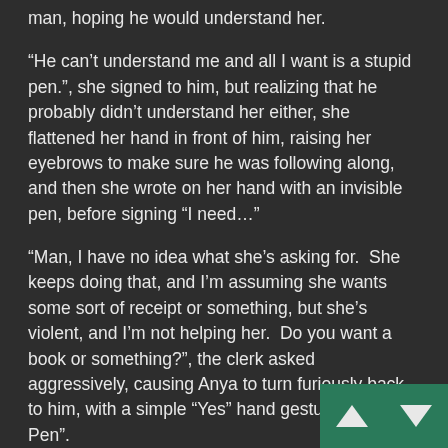man, hoping he would understand her.
“He can’t understand me and all I want is a stupid pen.”, she signed to him, but realizing that he probably didn’t understand her either, she flattened her hand in front of him, raising her eyebrows to make sure he was following along, and then she wrote on her hand with an invisible pen, before signing “I need…”
“Man, I have no idea what she’s asking for.  She keeps doing that, and I’m assuming she wants some sort of receipt or something, but she’s violent, and I’m not helping her.  Do you want a book or something?”, the clerk asked aggressively, causing Anya to turn furiously back to him, with a simple “Yes” hand gesture and “A Pen”.
She turned back to Sam, as the slow witted clerk scurried off to grab a notebook and something to write with and she thought about how to sign to him in a more understandable way, since he didn’t seem to know ASL either.  She placed her hand at her throat, and hissed with her mouth open, trying to tell him that she was voiceless, but she had her hearing, as she had explained earlier.  Not able to find a good motion for